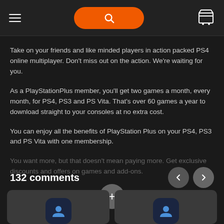Navigation header with hamburger menu, orange search button, and cart icon
Take on your friends and like minded players in action packed PS4 online multiplayer. Don't miss out on the action. We're waiting for you.
As a PlayStationPlus member, you'll get two games a month, every month, for PS4, PS3 and PS Vita. That's over 60 games a year to download straight to your consoles at no extra cost.
You can enjoy all the benefits of PlayStation Plus on your PS4, PS3 and PS Vita with one membership.
You want more, but that doesn't mean paying more. Get exclusive discounts and offers on games and add-ons.
132 comments
[Figure (other): Two comment card thumbnails with user avatar icons at the bottom]